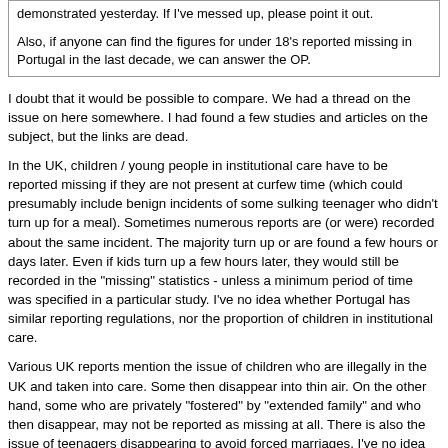demonstrated yesterday. If I've messed up, please point it out.

Also, if anyone can find the figures for under 18's reported missing in Portugal in the last decade, we can answer the OP.
I doubt that it would be possible to compare. We had a thread on the issue on here somewhere. I had found a few studies and articles on the subject, but the links are dead.
In the UK, children / young people in institutional care have to be reported missing if they are not present at curfew time (which could presumably include benign incidents of some sulking teenager who didn't turn up for a meal). Sometimes numerous reports are (or were) recorded about the same incident. The majority turn up or are found a few hours or days later. Even if kids turn up a few hours later, they would still be recorded in the "missing" statistics - unless a minimum period of time was specified in a particular study. I've no idea whether Portugal has similar reporting regulations, nor the proportion of children in institutional care.
Various UK reports mention the issue of children who are illegally in the UK and taken into care. Some then disappear into thin air. On the other hand, some who are privately "fostered" by "extended family" and who then disappear, may not be reported as missing at all. There is also the issue of teenagers disappearing to avoid forced marriages. I've no idea whether Portugal faces such issues, nor, if so, to what extent.
Although there may well be runaways in Portugal, the number